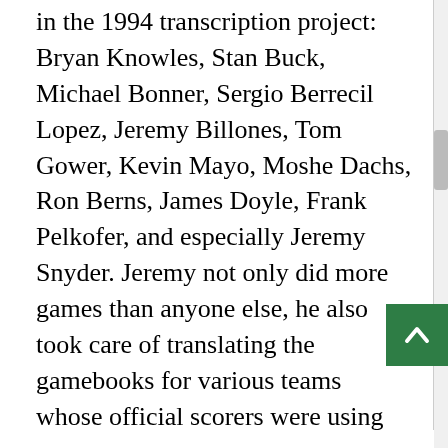in the 1994 transcription project: Bryan Knowles, Stan Buck, Michael Bonner, Sergio Berrecil Lopez, Jeremy Billones, Tom Gower, Kevin Mayo, Moshe Dachs, Ron Berns, James Doyle, Frank Pelkofer, and especially Jeremy Snyder. Jeremy not only did more games than anyone else, he also took care of translating the gamebooks for various teams whose official scorers were using non-standard play descriptions back in the pre-Internet Stone Age. He also went through when all was done and changed play-by-play IDs so that multiple players with the same first initial and last name would not be listed with the same IDs. It was a ton of work.
So what's next? Things have actually speeded up a bit when it comes to transcribing old play-by-play, and we already have 1993 about 80 percent complete. However, we've also hit our first stumbling block: The Week 17 New Orleans at Philadelphia game apparently is the first